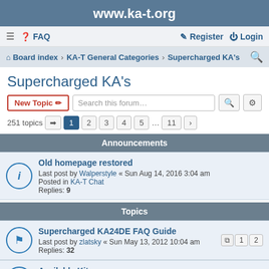www.ka-t.org
≡  FAQ   Register  Login
Board index · KA-T General Categories · Supercharged KA's
Supercharged KA's
New Topic  Search this forum…
251 topics  1 2 3 4 5 … 11
Announcements
Old homepage restored
Last post by Walperstyle « Sun Aug 14, 2016 3:04 am
Posted in KA-T Chat
Replies: 9
Topics
Supercharged KA24DE FAQ Guide
Last post by zlatsky « Sun May 13, 2012 10:04 am
Replies: 32
[1] [2]
Available Kits
Last post by obby « Mon Nov 13, 2017 9:50 pm
Replies: 5